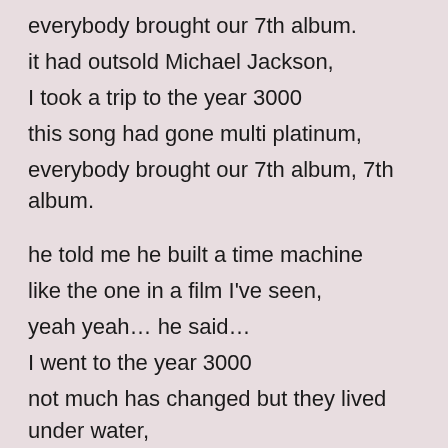everybody brought our 7th album.
it had outsold Michael Jackson,
I took a trip to the year 3000
this song had gone multi platinum,
everybody brought our 7th album, 7th album.

he told me he built a time machine
like the one in a film I've seen,
yeah yeah… he said…
I went to the year 3000
not much has changed but they lived under water,
and your great great great grand daughter,
is pretty fine (is pretty fine) (3x)